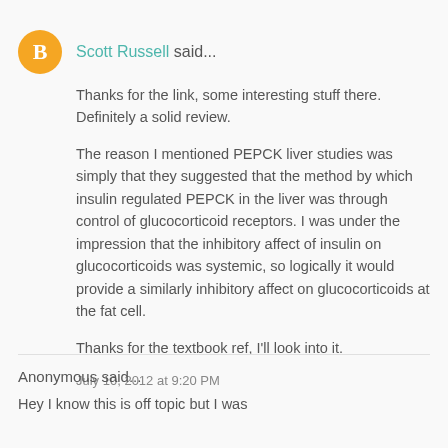Scott Russell said...
Thanks for the link, some interesting stuff there. Definitely a solid review.
The reason I mentioned PEPCK liver studies was simply that they suggested that the method by which insulin regulated PEPCK in the liver was through control of glucocorticoid receptors. I was under the impression that the inhibitory affect of insulin on glucocorticoids was systemic, so logically it would provide a similarly inhibitory affect on glucocorticoids at the fat cell.
Thanks for the textbook ref, I'll look into it.
July 10, 2012 at 9:20 PM
Anonymous said...
Hey I know this is off topic but I was